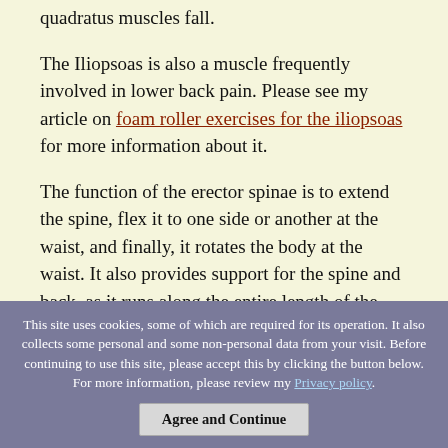quadratus muscles fall.
The Iliopsoas is also a muscle frequently involved in lower back pain. Please see my article on foam roller exercises for the iliopsoas for more information about it.
The function of the erector spinae is to extend the spine, flex it to one side or another at the waist, and finally, it rotates the body at the waist. It also provides support for the spine and back, as it runs along the entire length of the back.
The quadratus lumborum also flexes the spine laterally, and rotates the trunk at the waist. It stabilizes the pelvis and lumbar spine. If the Erector Spinae muscles become weak, the QL will often contract to assist them. This may lead to over-
This site uses cookies, some of which are required for its operation. It also collects some personal and some non-personal data from your visit. Before continuing to use this site, please accept this by clicking the button below. For more information, please review my Privacy policy. Agree and Continue